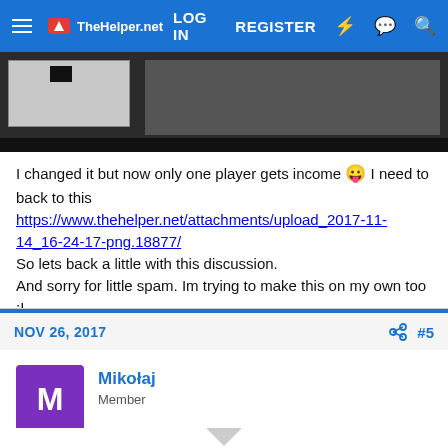LOG IN  REGISTER
[Figure (screenshot): Screenshot of a game or application window with a dark background map/terrain image on the right and a dialog/settings panel on the left, with a Windows taskbar at the bottom.]
I changed it but now only one player gets income 😛 I need to back to this
https://www.thehelper.net/attachments/upload_2017-11-14_16-24-17-png.18877/
So lets back a little with this discussion.
And sorry for little spam. Im trying to make this on my own too :I
NOV 26, 2017   #5
Mikołaj
Member